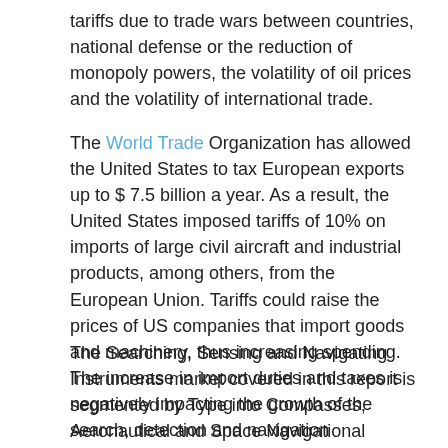tariffs due to trade wars between countries, national defense or the reduction of monopoly powers, the volatility of oil prices and the volatility of international trade.
The World Trade Organization has allowed the United States to tax European exports up to $ 7.5 billion a year. As a result, the United States imposed tariffs of 10% on imports of large civil aircraft and industrial products, among others, from the European Union. Tariffs could raise the prices of US companies that import goods and machinery, thus increasing spending. The increase in import duties and taxes is negatively impacting the growth of the search, detection and navigation instruments market.
The Searching, Sensing and Navigating Instruments market covered in this report is segmented by Type into Compasses, Aeronautical and Space Navigational Instruments, Nautical Navigational Instruments, and Radio Navigational Aids.